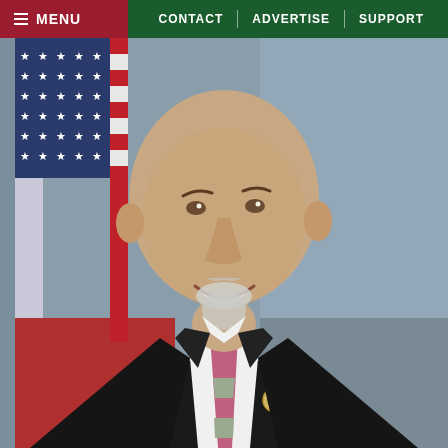MENU | CONTACT | ADVERTISE | SUPPORT
[Figure (photo): Official congressional portrait of a bald, smiling middle-aged man with a goatee, wearing a dark suit, white shirt, pink and grey striped tie, and a congressional lapel pin. An American flag is visible in the background.]